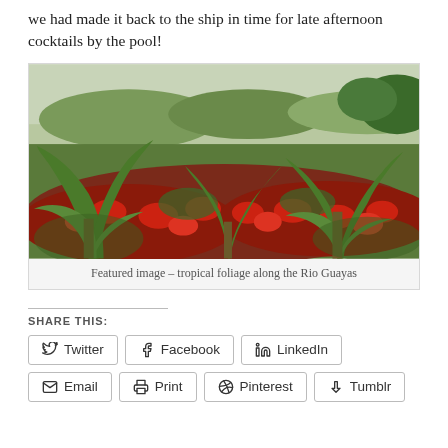we had made it back to the ship in time for late afternoon cocktails by the pool!
[Figure (photo): Tropical foliage with palm trees and red flowering plants along the Rio Guayas]
Featured image – tropical foliage along the Rio Guayas
SHARE THIS:
Twitter
Facebook
LinkedIn
Email
Print
Pinterest
Tumblr